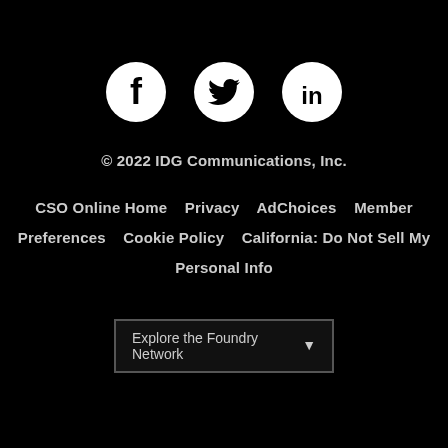[Figure (other): Three social media icons in circles: Facebook (f), Twitter (bird), LinkedIn (in), arranged horizontally on black background]
© 2022 IDG Communications, Inc.
CSO Online Home  Privacy  AdChoices  Member Preferences  Cookie Policy  California: Do Not Sell My Personal Info
[Figure (other): Dropdown selector labeled 'Explore the Foundry Network' with down arrow, on dark background]